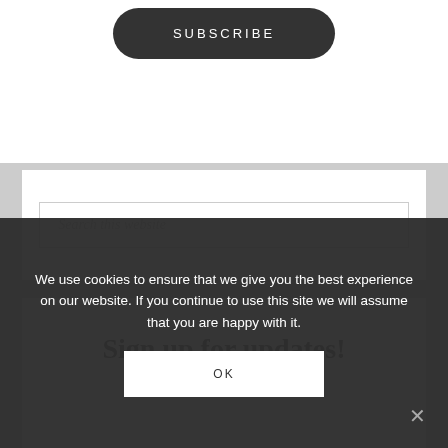[Figure (other): Dark rounded rectangle SUBSCRIBE button on white background]
Search this website
Sign up for updates!
We use cookies to ensure that we give you the best experience on our website. If you continue to use this site we will assume that you are happy with it.
OK